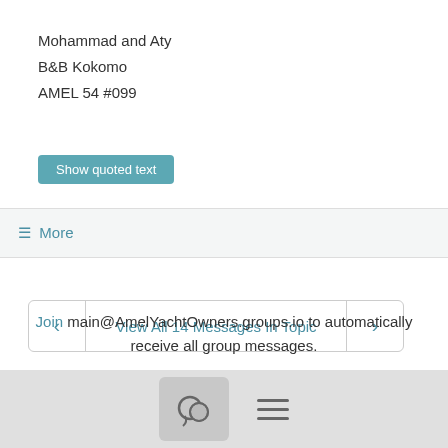Mohammad and Aty
B&B Kokomo
AMEL 54 #099
Show quoted text
≡ More
< View All 14 Messages In Topic >
< #55605 >
Join main@AmelYachtOwners.groups.io to automatically receive all group messages.